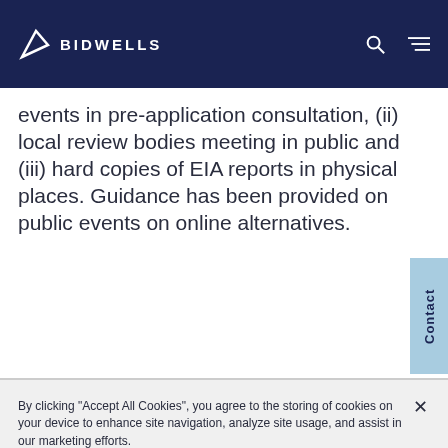BIDWELLS
events in pre-application consultation, (ii) local review bodies meeting in public and (iii) hard copies of EIA reports in physical places. Guidance has been provided on public events on online alternatives.
By clicking "Accept All Cookies", you agree to the storing of cookies on your device to enhance site navigation, analyze site usage, and assist in our marketing efforts.
Cookies Settings
Accept All Cookies